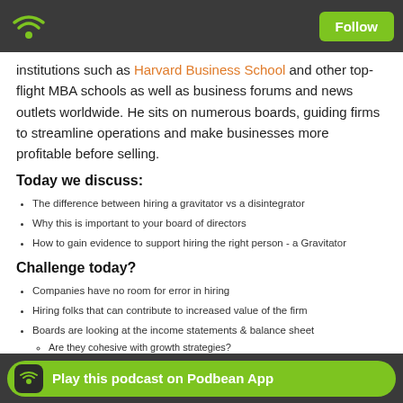Follow
institutions such as Harvard Business School and other top-flight MBA schools as well as business forums and news outlets worldwide. He sits on numerous boards, guiding firms to streamline operations and make businesses more profitable before selling.
Today we discuss:
The difference between hiring a gravitator vs a disintegrator
Why this is important to your board of directors
How to gain evidence to support hiring the right person - a Gravitator
Challenge today?
Companies have no room for error in hiring
Hiring folks that can contribute to increased value of the firm
Boards are looking at the income statements & balance sheet
Are they cohesive with growth strategies?
How to as...
Play this podcast on Podbean App